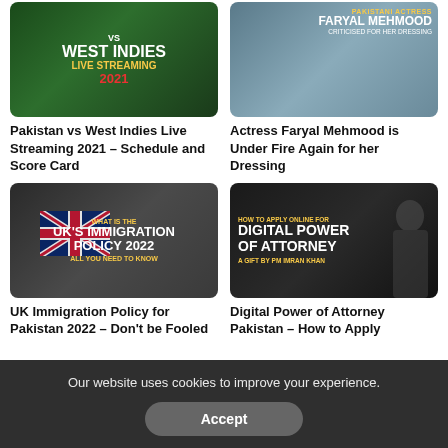[Figure (photo): Pakistan vs West Indies cricket thumbnail with text overlay: VS WEST INDIES, LIVE STREAMING, 2021]
[Figure (photo): Actress Faryal Mehmood thumbnail with text: PAKISTANI ACTRESS, FARYAL MEHMOOD, CRITICISED FOR HER DRESSING]
Pakistan vs West Indies Live Streaming 2021 – Schedule and Score Card
Actress Faryal Mehmood is Under Fire Again for her Dressing
[Figure (photo): UK Immigration Policy 2022 thumbnail with UK flag and text: WHAT IS THE UK'S IMMIGRATION POLICY 2022, ALL YOU NEED TO KNOW]
[Figure (photo): Digital Power of Attorney thumbnail with man in dark suit and text: HOW TO APPLY ONLINE FOR DIGITAL POWER OF ATTORNEY, A GIFT BY PM IMRAN KHAN]
UK Immigration Policy for Pakistan 2022 – Don't be Fooled
Digital Power of Attorney Pakistan – How to Apply
Our website uses cookies to improve your experience.
Accept